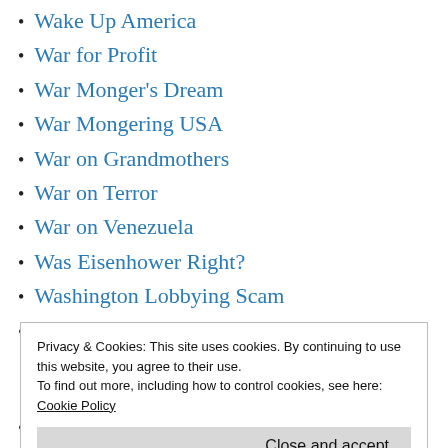Wake Up America
War for Profit
War Monger's Dream
War Mongering USA
War on Grandmothers
War on Terror
War on Venezuela
Was Eisenhower Right?
Washington Lobbying Scam
Weaponized Poverty
Privacy & Cookies: This site uses cookies. By continuing to use this website, you agree to their use.
To find out more, including how to control cookies, see here:
Cookie Policy
What Has Value?